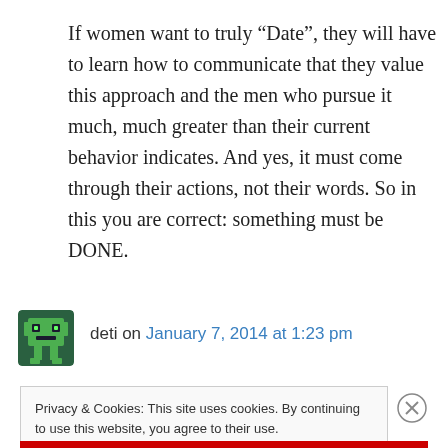If women want to truly “Date”, they will have to learn how to communicate that they value this approach and the men who pursue it much, much greater than their current behavior indicates. And yes, it must come through their actions, not their words. So in this you are correct: something must be DONE.
deti on January 7, 2014 at 1:23 pm
Privacy & Cookies: This site uses cookies. By continuing to use this website, you agree to their use.
To find out more, including how to control cookies, see here: Cookie Policy